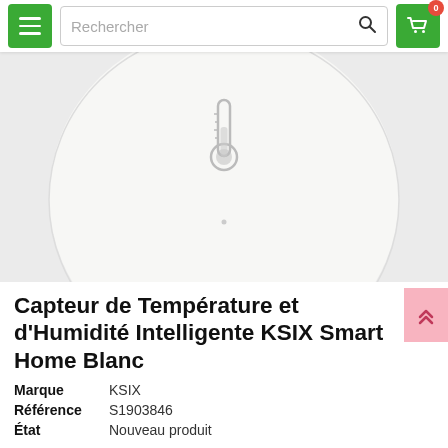Rechercher
[Figure (photo): Top-down view of a white round smart temperature and humidity sensor (KSIX Smart Home) with a thermometer icon on top, against a light gray background.]
Capteur de Température et d'Humidité Intelligente KSIX Smart Home Blanc
Marque: KSIX
Référence: S1903846
État: Nouveau produit